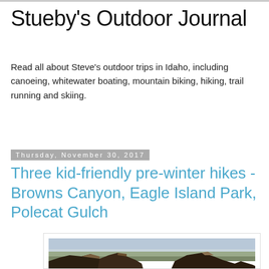Stueby's Outdoor Journal
Read all about Steve's outdoor trips in Idaho, including canoeing, whitewater boating, mountain biking, hiking, trail running and skiing.
Thursday, November 30, 2017
Three kid-friendly pre-winter hikes - Browns Canyon, Eagle Island Park, Polecat Gulch
[Figure (photo): Aerial view of a canyon landscape with rocky formations in the foreground and a flat desert plain stretching into the distance under an overcast sky]